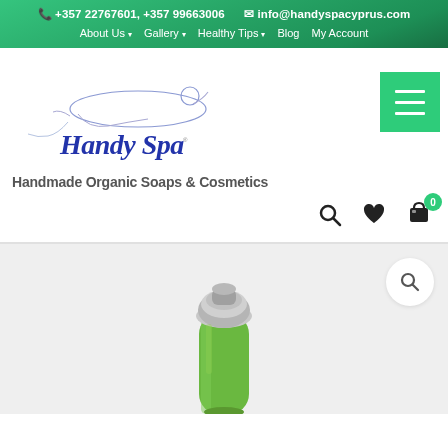+357 22767601, +357 99663006  info@handyspacyprus.com  About Us  Gallery  Healthy Tips  Blog  My Account
[Figure (logo): Handy Spa logo with reclining figure outline and cursive blue text 'Handy Spa']
Handmade Organic Soaps & Cosmetics
[Figure (photo): Green beauty device / facial massager tool with silver metallic top, partially shown at bottom of page]